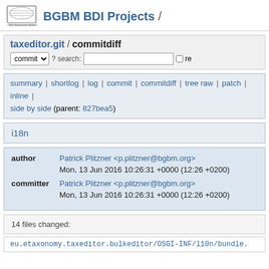BGBM BDI Projects /
taxeditor.git / commitdiff
commit ? search: re
summary | shortlog | log | commit | commitdiff | tree raw | patch | inline | side by side (parent: 827bea5)
i18n
author Patrick Plitzner <p.plitzner@bgbm.org>
Mon, 13 Jun 2016 10:26:31 +0000 (12:26 +0200)
committer Patrick Plitzner <p.plitzner@bgbm.org>
Mon, 13 Jun 2016 10:26:31 +0000 (12:26 +0200)
14 files changed:
eu.etaxonomy.taxeditor.bulkeditor/OSGI-INF/l10n/bundle.